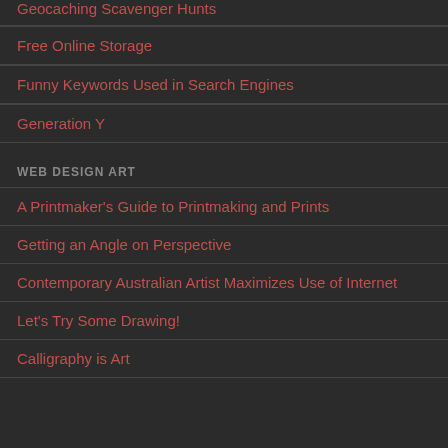Geocaching Scavenger Hunts
Free Online Storage
Funny Keywords Used in Search Engines
Generation Y
WEB DESIGN ART
A Printmaker's Guide to Printmaking and Prints
Getting an Angle on Perspective
Contemporary Australian Artist Maximizes Use of Internet
Let's Try Some Drawing!
Calligraphy is Art